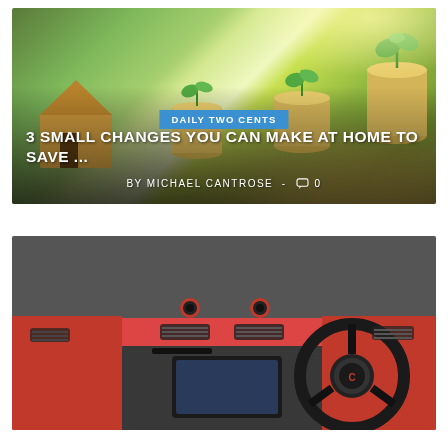[Figure (photo): Hero image showing stacked coins with green plants growing out of them and a wooden house model, blurred green background. Overlaid with 'DAILY TWO CENTS' badge, article title '3 SMALL CHANGES YOU CAN MAKE AT HOME TO SAVE ...', and byline 'BY MICHAEL CANTROSE - comment icon 0']
[Figure (photo): Interior dashboard view of a red Smart car, showing the steering wheel, red dashboard panel, center console with infotainment screen, and air vents.]